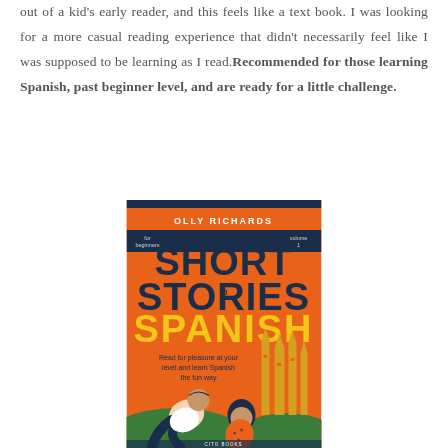out of a kid's early reader, and this feels like a text book. I was looking for a more casual reading experience that didn't necessarily feel like I was supposed to be learning as I read.Recommended for those learning Spanish, past beginner level, and are ready for a little challenge.
[Figure (illustration): Book cover of 'Short Stories in Spanish' by Olly Richards. Orange cover with illustrations of two people sitting and the Sagrada Familia in the background. Title shows 'SHORT STORIES in SPANISH' with 'SPANISH' in yellow. Subtitle reads 'Read for pleasure at your level and learn Spanish the fun way'.]